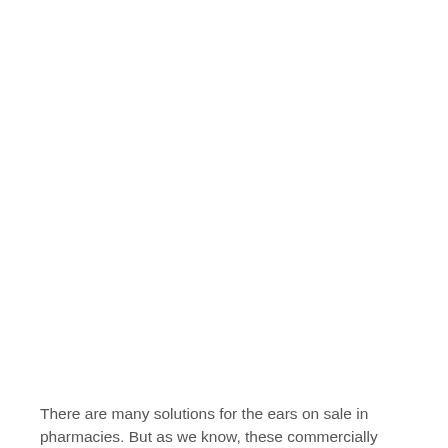There are many solutions for the ears on sale in pharmacies. But as we know, these commercially